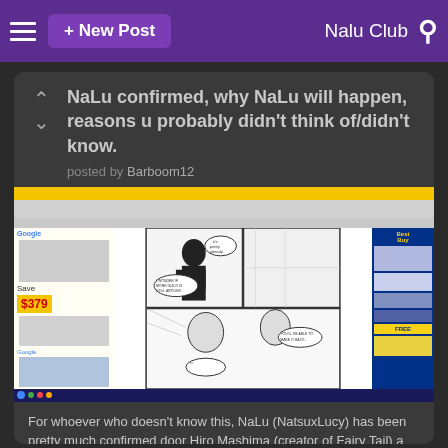+ New Post   Nalu Club
NaLu confirmed, why NaLu will happen, reasons u probably didn't think of/didn't know.
posted by Barboom12
[Figure (screenshot): Screenshot of a web browser showing a manga page from Fairy Tail, with Google and Best Buy advertisements on the sides. The manga depicts characters in black and white panels.]
For whoever who doesn't know this, NaLu (NatsuxLucy) has been pretty much confirmed door Hiro Mashima (creator of Fairy Tail) a while back saying: "Lucy and Natsu's union will give birth to a child named Nashi". Hiro is saying that Natsu and Lucy will have a child named Nashi.
Why NaLu will happen: